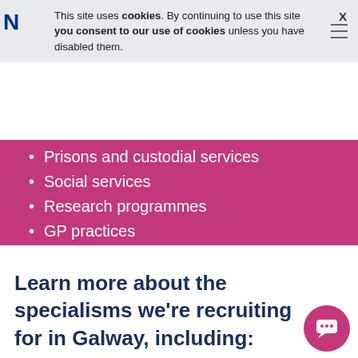This site uses cookies. By continuing to use this site you consent to our use of cookies unless you have disabled them.
Prisons and custodial services
Social services
Research programmes
GP practices
Medical device companies
Learn more about the specialisms we're recruiting for in Galway, including: